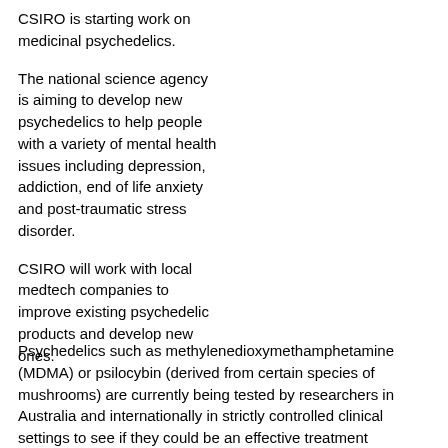CSIRO is starting work on medicinal psychedelics.
The national science agency is aiming to develop new psychedelics to help people with a variety of mental health issues including depression, addiction, end of life anxiety and post-traumatic stress disorder.
CSIRO will work with local medtech companies to improve existing psychedelic products and develop new ones.
Psychedelics such as methylenedioxymethamphetamine (MDMA) or psilocybin (derived from certain species of mushrooms) are currently being tested by researchers in Australia and internationally in strictly controlled clinical settings to see if they could be an effective treatment alongside psychotherapy for mental health related illnesses. Results have